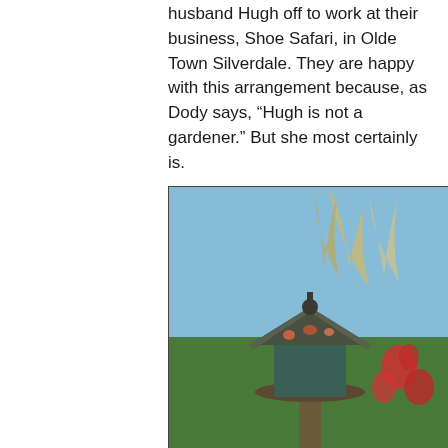husband Hugh off to work at their business, Shoe Safari, in Olde Town Silverdale. They are happy with this arrangement because, as Dody says, “Hugh is not a gardener.” But she most certainly is.
[Figure (photo): Photo of a decorative bird feeder on a wooden post in a garden, with tall grasses and red flowers visible in the background under a blue sky.]
The couple moved from Edmonds to the greater Hansville area in the mid-1990s. They had searched for over a year for a home, from Port Townsend all the way to Gig Harbor, and finally found property in the greater Hansville area.
[Figure (photo): Partial photo showing colorful garden decorations or sculptures against a blue sky, with what appears to be a large colorful sphere or ball visible at lower right.]